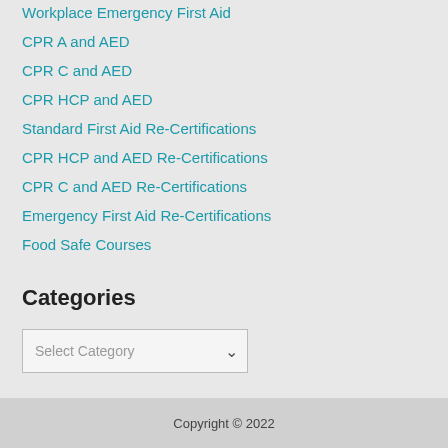Workplace Emergency First Aid
CPR A and AED
CPR C and AED
CPR HCP and AED
Standard First Aid Re-Certifications
CPR HCP and AED Re-Certifications
CPR C and AED Re-Certifications
Emergency First Aid Re-Certifications
Food Safe Courses
Categories
Select Category
Copyright © 2022